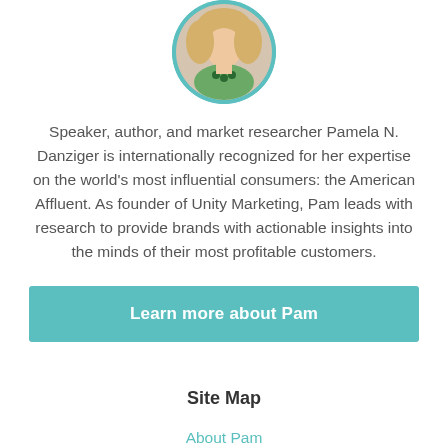[Figure (photo): Circular portrait photo of Pamela N. Danziger with teal border frame]
Speaker, author, and market researcher Pamela N. Danziger is internationally recognized for her expertise on the world's most influential consumers: the American Affluent. As founder of Unity Marketing, Pam leads with research to provide brands with actionable insights into the minds of their most profitable customers.
Learn more about Pam
Site Map
About Pam
Speaking & Workshops